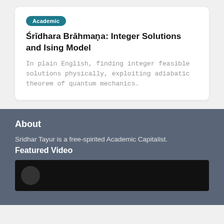Academic
Śrīdhara Brāhmaṇa: Integer Solutions and Ising Model
In plain English, finding integer feasible solutions physically, exploiting adiabatic theorem of quantum mechanics.
About
Sridhar Tayur is a free-spirited Academic Capitalist.
Featured Video
[Figure (photo): Dark video thumbnail preview]